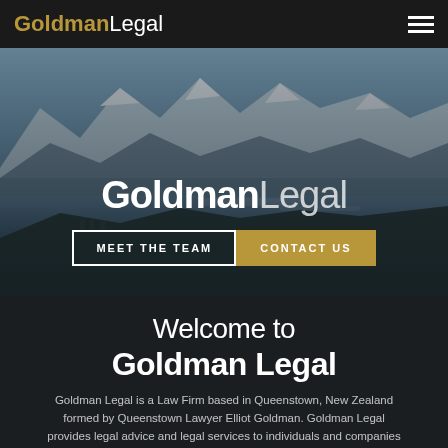Goldman Legal
[Figure (screenshot): Aerial landscape photograph of Queenstown, New Zealand, showing snow-capped mountains, a lake, and town below, used as hero banner background with Goldman Legal logo and two call-to-action buttons: MEET THE TEAM and CONTACT US]
Welcome to Goldman Legal
Goldman Legal is a Law Firm based in Queenstown, New Zealand formed by Queenstown Lawyer Elliot Goldman. Goldman Legal provides legal advice and legal services to individuals and companies across a range of matters in the fields of Property, Business and Immigration Law.